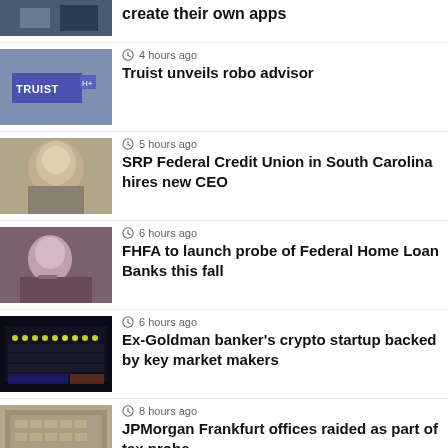[Figure (photo): Partial photo at top, dark tones, tech/apps related]
create their own apps
[Figure (photo): Truist bank sign, purple/blue background]
4 hours ago
Truist unveils robo advisor
[Figure (photo): Man in suit, headshot, professional photo]
5 hours ago
SRP Federal Credit Union in South Carolina hires new CEO
[Figure (photo): Woman speaking at microphone, purple outfit]
6 hours ago
FHFA to launch probe of Federal Home Loan Banks this fall
[Figure (photo): Dark server/networking hardware with yellow lights]
6 hours ago
Ex-Goldman banker's crypto startup backed by key market makers
[Figure (photo): JPMorgan building exterior, stone facade]
8 hours ago
JPMorgan Frankfurt offices raided as part of tax probe
[Figure (photo): WSFS Financial building exterior, green roof]
8 hours ago
WSFS Financial adds new health care